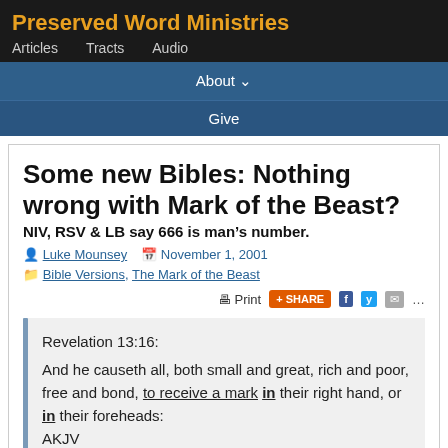Preserved Word Ministries
Articles  Tracts  Audio
About ∨
Give
Some new Bibles: Nothing wrong with Mark of the Beast?
NIV, RSV & LB say 666 is man’s number.
Luke Mounsey  November 1, 2001
Bible Versions, The Mark of the Beast
Print  SHARE
Revelation 13:16:
And he causeth all, both small and great, rich and poor, free and bond, to receive a mark in their right hand, or in their foreheads:
AKJV